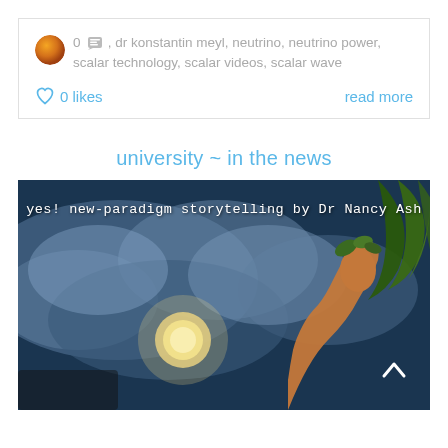0 [comment icon], dr konstantin meyl, neutrino, neutrino power, scalar technology, scalar videos, scalar wave
0 likes   read more
university ~ in the news
[Figure (photo): Artistic photo of a sculpted face in profile looking upward at a dramatic sky with clouds and bright sun/moon, with tropical palm leaves in the background. Text overlay reads: 'yes! new-paradigm storytelling by Dr Nancy Ash'. A scroll-up arrow chevron is visible in the lower right.]